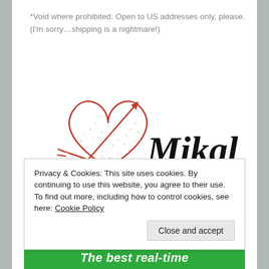*Void where prohibited. Open to US addresses only, please. (I'm sorry…shipping is a nightmare!)
[Figure (illustration): A red heart outline with dotted/stipple fill and two crossed arrows through it, with a cursive signature 'Mikal' to the right.]
Advertisements
Privacy & Cookies: This site uses cookies. By continuing to use this website, you agree to their use.
To find out more, including how to control cookies, see here: Cookie Policy
Close and accept
The best real-time